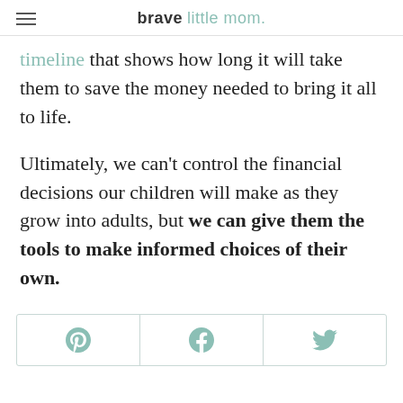brave little mom.
timeline that shows how long it will take them to save the money needed to bring it all to life.
Ultimately, we can't control the financial decisions our children will make as they grow into adults, but we can give them the tools to make informed choices of their own.
[Figure (other): Social sharing buttons row with Pinterest, Facebook, and Twitter icons]